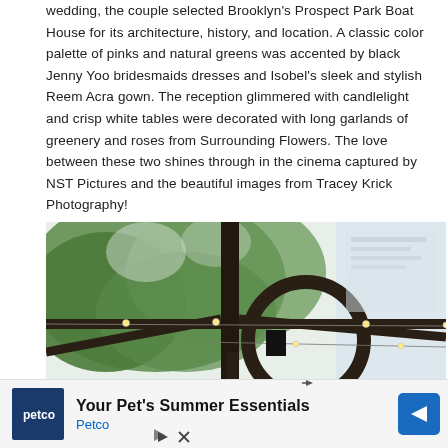wedding, the couple selected Brooklyn's Prospect Park Boat House for its architecture, history, and location. A classic color palette of pinks and natural greens was accented by black Jenny Yoo bridesmaids dresses and Isobel's sleek and stylish Reem Acra gown. The reception glimmered with candlelight and crisp white tables were decorated with long garlands of greenery and roses from Surrounding Flowers. The love between these two shines through in the cinema captured by NST Pictures and the beautiful images from Tracey Krick Photography!
SEE IT
[Figure (photo): Outdoor architectural photo showing wooden beams and circular structure with string lights, green trees in background, taken at what appears to be Prospect Park Boat House]
[Figure (infographic): Advertisement banner for Petco: 'Your Pet's Summer Essentials' with Petco logo and blue arrow button]